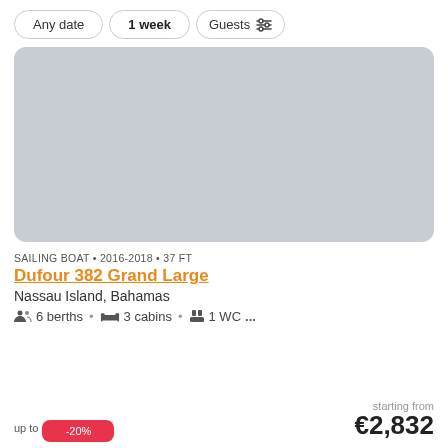Any date | 1 week | Guests
[Figure (photo): Gray placeholder image of a sailing boat listing]
SAILING BOAT • 2016-2018 • 37 FT
Dufour 382 Grand Large
Nassau Island, Bahamas
6 berths • 3 cabins • 1 WC...
up to -20% starting from €2,832